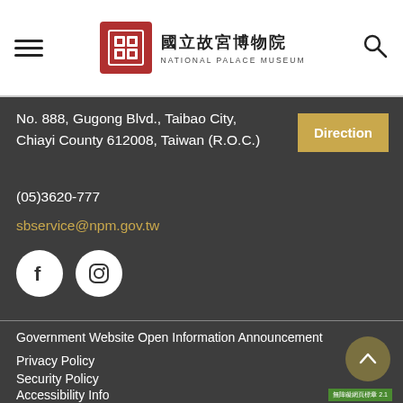國立故宮博物院 NATIONAL PALACE MUSEUM
No. 888, Gugong Blvd., Taibao City, Chiayi County 612008, Taiwan (R.O.C.)
(05)3620-777
sbservice@npm.gov.tw
[Figure (other): Facebook and Instagram social media icon circles]
Government Website Open Information Announcement
Privacy Policy
Security Policy
Accessibility Info